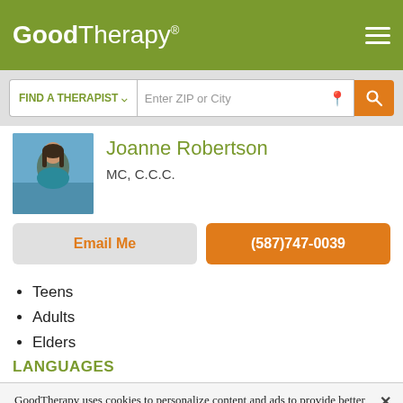GoodTherapy®
FIND A THERAPIST  ∨  Enter ZIP or City
Joanne Robertson
MC, C.C.C.
Email Me
(587)747-0039
Teens
Adults
Elders
LANGUAGES
GoodTherapy uses cookies to personalize content and ads to provide better services for our users and to analyze our traffic. By continuing to use this site you consent to our cookies.